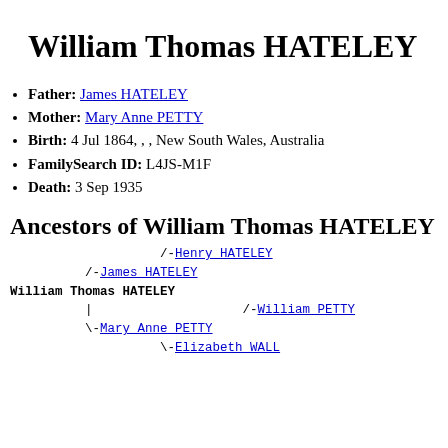William Thomas HATELEY
Father: James HATELEY
Mother: Mary Anne PETTY
Birth: 4 Jul 1864, , , New South Wales, Australia
FamilySearch ID: L4JS-M1F
Death: 3 Sep 1935
Ancestors of William Thomas HATELEY
/-Henry HATELEY
          /-James HATELEY
William Thomas HATELEY
          |                    /-William PETTY
          \-Mary Anne PETTY
                    \-Elizabeth WALL